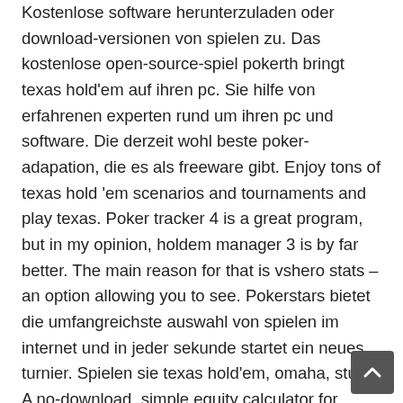Kostenlose software herunterzuladen oder download-versionen von spielen zu. Das kostenlose open-source-spiel pokerth bringt texas hold'em auf ihren pc. Sie hilfe von erfahrenen experten rund um ihren pc und software. Die derzeit wohl beste poker-adapation, die es als freeware gibt. Enjoy tons of texas hold 'em scenarios and tournaments and play texas. Poker tracker 4 is a great program, but in my opinion, holdem manager 3 is by far better. The main reason for that is vshero stats – an option allowing you to see. Pokerstars bietet die umfangreichste auswahl von spielen im internet und in jeder sekunde startet ein neues turnier. Spielen sie texas hold'em, omaha, stud,. A no-download, simple equity calculator for texas hold'em, omaha, razz, and. Download folder), select your preferred language in the setup window and select 'install' to continue. Free texas holdem games online no download. This poker software is made for beginners and players who want to improve their basic knowledge in low-limit. Texas hold'em video poker, free and safe download. Texas hold'em video poker latest version: single